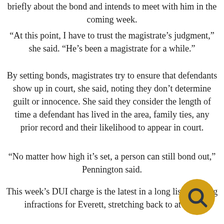briefly about the bond and intends to meet with him in the coming week.
“At this point, I have to trust the magistrate’s judgment,” she said. “He’s been a magistrate for a while.”
By setting bonds, magistrates try to ensure that defendants show up in court, she said, noting they don’t determine guilt or innocence. She said they consider the length of time a defendant has lived in the area, family ties, any prior record and their likelihood to appear in court.
“No matter how high it’s set, a person can still bond out,” Pennington said.
This week’s DUI charge is the latest in a long list of serious infractions for Everett, stretching back to at least